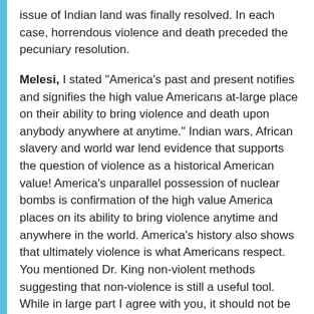issue of Indian land was finally resolved. In each case, horrendous violence and death preceded the pecuniary resolution.
Melesi, I stated "America's past and present notifies and signifies the high value Americans at-large place on their ability to bring violence and death upon anybody anywhere at anytime." Indian wars, African slavery and world war lend evidence that supports the question of violence as a historical American value! America's unparallel possession of nuclear bombs is confirmation of the high value America places on its ability to bring violence anytime and anywhere in the world. America's history also shows that ultimately violence is what Americans respect. You mentioned Dr. King non-violent methods suggesting that non-violence is still a useful tool. While in large part I agree with you, it should not be ignored that